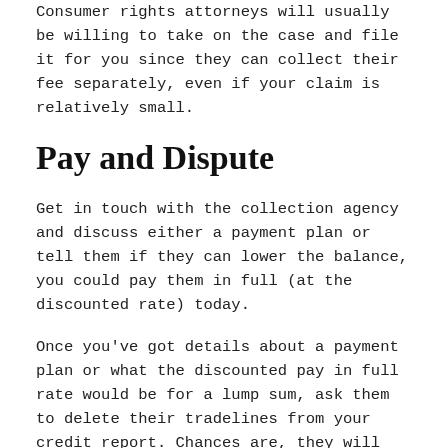Consumer rights attorneys will usually be willing to take on the case and file it for you since they can collect their fee separately, even if your claim is relatively small.
Pay and Dispute
Get in touch with the collection agency and discuss either a payment plan or tell them if they can lower the balance, you could pay them in full (at the discounted rate) today.
Once you've got details about a payment plan or what the discounted pay in full rate would be for a lump sum, ask them to delete their tradelines from your credit report. Chances are, they will say no. At this point (if you have the money) ask them if they would delete the tradelines in exchange for full payment today. Again, they will probably say no but you do have a slightly better shot.